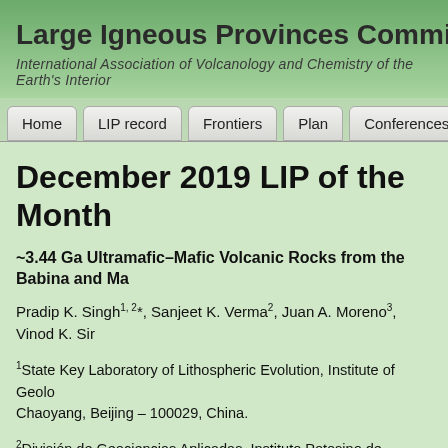Large Igneous Provinces Commission
International Association of Volcanology and Chemistry of the Earth's Interior
December 2019 LIP of the Month
~3.44 Ga Ultramafic–Mafic Volcanic Rocks from the Babina and Ma…
Pradip K. Singh1, 2*, Sanjeet K. Verma2, Juan A. Moreno3, Vinod K. Sir…
1State Key Laboratory of Lithospheric Evolution, Institute of Geolo… Chaoyang, Beijing – 100029, China.
2División de Geociencias Aplicadas, Instituto Potosino de Investigació… Potosí 78216, México.